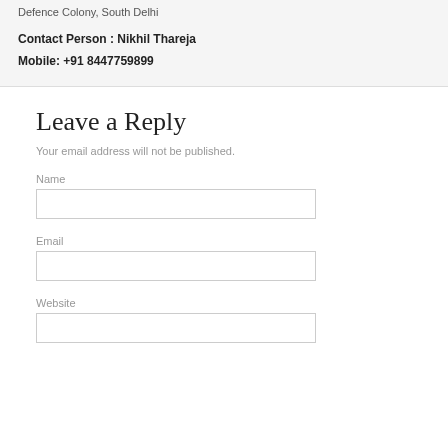Defence Colony, South Delhi
Contact Person : Nikhil Thareja
Mobile: +91 8447759899
Leave a Reply
Your email address will not be published.
Name
Email
Website